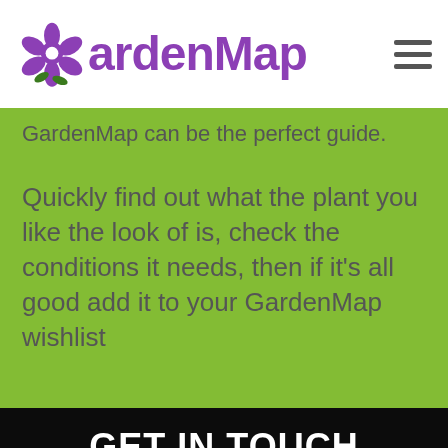GardenMap
GardenMap can be the perfect guide.
Quickly find out what the plant you like the look of is, check the conditions it needs, then if it's all good add it to your GardenMap wishlist
GET IN TOUCH
Name
Email